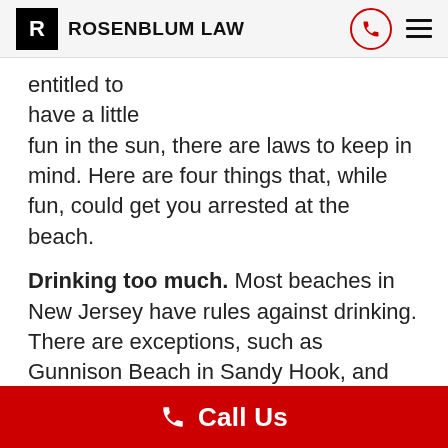ROSENBLUM LAW
entitled to have a little fun in the sun, there are laws to keep in mind. Here are four things that, while fun, could get you arrested at the beach.
Drinking too much. Most beaches in New Jersey have rules against drinking. There are exceptions, such as Gunnison Beach in Sandy Hook, and nearby North and South Beach. However, even then moderation is important as police can arrest you for public intoxication if they feel you are a danger to yourself or others. The good news is that the state does not prosecute public intoxication —
Call Us